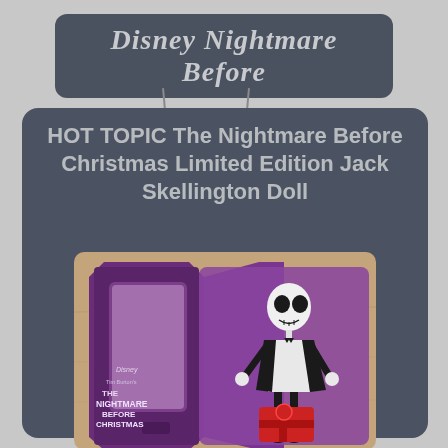Disney Nightmare Before
HOT TOPIC The Nightmare Before Christmas Limited Edition Jack Skellington Doll
[Figure (photo): Photo of a Jack Skellington doll from The Nightmare Before Christmas, displayed in a purple coffin-shaped box. The box shows Disney and Tim Burton's The Nightmare Before Christmas branding. The doll depicts Jack Skellington in his signature black suit with white shirt and bow tie.]